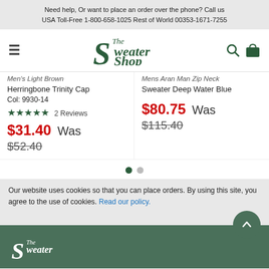Need help, Or want to place an order over the phone? Call us USA Toll-Free 1-800-658-1025 Rest of World 00353-1671-7255
[Figure (logo): The Sweater Shop logo with hamburger menu, search icon, and shopping bag icon in dark green]
Men's Light Brown Herringbone Trinity Cap Col: 9930-14
★★★★★ 2 Reviews
$31.40  Was  $52.40
Men's Aran Man Zip Neck Sweater Deep Water Blue
$80.75  Was  $115.40
Our website uses cookies so that you can place orders. By using this site, you agree to the use of cookies. Read our policy.
[Figure (logo): The Sweater Shop footer logo in white on dark green background]